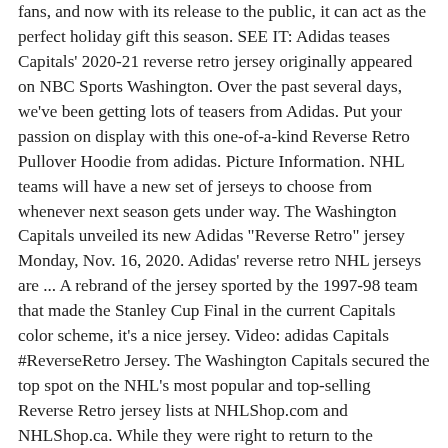fans, and now with its release to the public, it can act as the perfect holiday gift this season. SEE IT: Adidas teases Capitals' 2020-21 reverse retro jersey originally appeared on NBC Sports Washington. Over the past several days, we've been getting lots of teasers from Adidas. Put your passion on display with this one-of-a-kind Reverse Retro Pullover Hoodie from adidas. Picture Information. NHL teams will have a new set of jerseys to choose from whenever next season gets under way. The Washington Capitals unveiled its new Adidas "Reverse Retro" jersey Monday, Nov. 16, 2020. Adidas' reverse retro NHL jerseys are ... A rebrand of the jersey sported by the 1997-98 team that made the Stanley Cup Final in the current Capitals color scheme, it's a nice jersey. Video: adidas Capitals #ReverseRetro Jersey. The Washington Capitals secured the top spot on the NHL's most popular and top-selling Reverse Retro jersey lists at NHLShop.com and NHLShop.ca. While they were right to return to the franchise's original color palette, the Wild Wing logo design was previously laughed out of already limited use in the 1995-96 season. Browse our selection of NHL jerseys in all the sizes, colors, and styles you need for men, women, and kids at shop.nhl.com. adidas and the NHL bring you the first ever league-wide alternate jersey programme, celebrating history and the future. Image not available. Enjoy Quick Flat-Rate Shipping on all adidas merchandise, including adidas Ice Hockey apparel, adidas gear and so much more. Redesigned in the patriotic colors of the flag, the